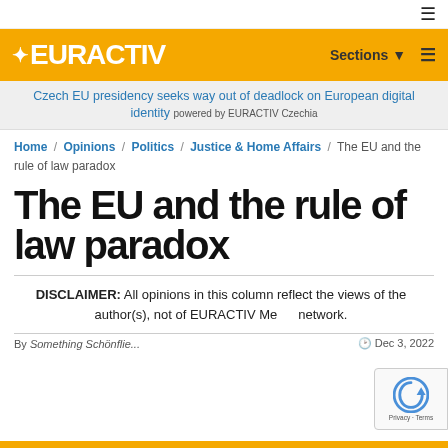EURACTIV — Sections navigation
Czech EU presidency seeks way out of deadlock on European digital identity powered by EURACTIV Czechia
Home / Opinions / Politics / Justice & Home Affairs / The EU and the rule of law paradox
The EU and the rule of law paradox
DISCLAIMER: All opinions in this column reflect the views of the author(s), not of EURACTIV Media network.